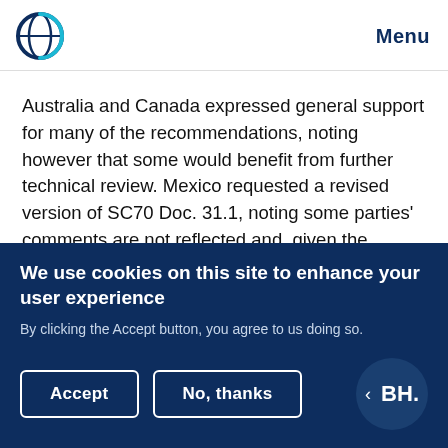Menu
Australia and Canada expressed general support for many of the recommendations, noting however that some would benefit from further technical review. Mexico requested a revised version of SC70 Doc. 31.1, noting some parties' comments are not reflected and, given the complexity of the document, a decision on it would not be possible at SC70.
We use cookies on this site to enhance your user experience
By clicking the Accept button, you agree to us doing so.